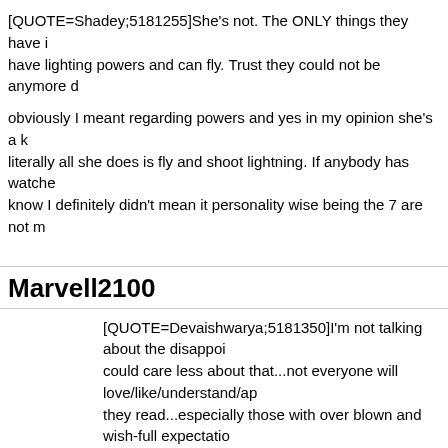[QUOTE=Shadey;5181255]She's not. The ONLY things they have in common is they both have lighting powers and can fly. Trust they could not be anymore d
obviously I meant regarding powers and yes in my opinion she's a k... literally all she does is fly and shoot lightning. If anybody has watche... know I definitely didn't mean it personality wise being the 7 are not m
Marvell2100
[QUOTE=Devaishwarya;5181350]I'm not talking about the disappoi... could care less about that...not everyone will love/like/understand/a... they read...especially those with over blown and wish-full expectatio
I was referring to directly trying to contradict what the writer says...ju... conform to one's personal feelings and understanding (or lack there
At the end of the day, the work is published...and nothing you or me say/feel/do can change this particular story into something other tha... how much we rail and rage. (Why I fully support and understand Vita... on twitter.
All that said...I do have to remind myself that the CBR forum is but a [/QUOTE]
[COLOR="#000080"]Cool and everything. But whether on CBR. Twi...